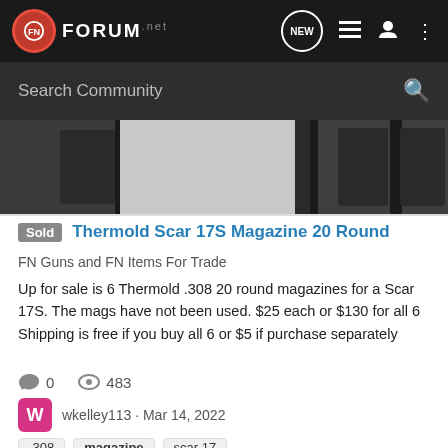FN FORUM.net
Search Community
[Figure (photo): Partial photo of dark wooden furniture or gun stocks against a light background]
Sold Thermold Scar 17S Magazine 20 Round
FN Guns and FN Items For Trade
Up for sale is 6 Thermold .308 20 round magazines for a Scar 17S. The mags have not been used. $25 each or $130 for all 6 Shipping is free if you buy all 6 or $5 if purchase separately
0  483
W  wkelley113 · Mar 14, 2022
.308  magazine  scar 17